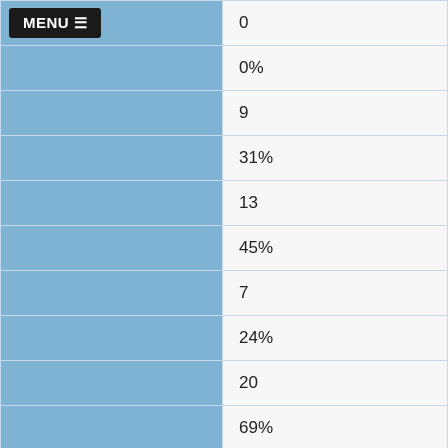| Category | Value |
| --- | --- |
| MENU ☰ | 0 |
|  | 0% |
|  | 9 |
|  | 31% |
|  | 13 |
|  | 45% |
|  | 7 |
|  | 24% |
|  | 20 |
|  | 69% |
| Male (?) |  |
|  | 34 |